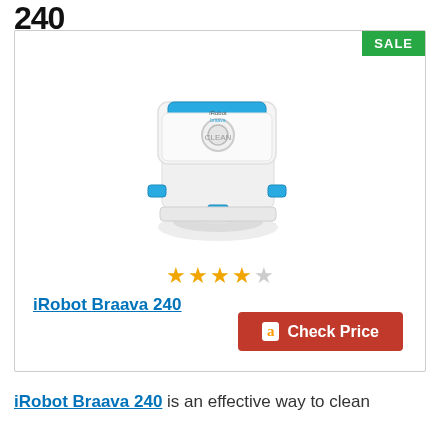240
[Figure (photo): iRobot Braava 240 robot mop, white square device with blue accents, shown mopping a floor surface]
SALE
4 out of 5 stars rating
iRobot Braava 240
Prime
Check Price
iRobot Braava 240 is an effective way to clean